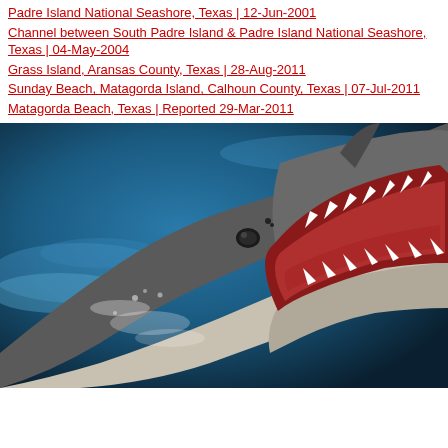Padre Island National Seashore, Texas | 12-Jun-2001
Channel between South Padre Island & Padre Island National Seashore, Texas | 04-May-2004
Grass Island, Aransas County, Texas | 28-Aug-2011
Sunday Beach, Matagorda Island, Calhoun County, Texas | 07-Jul-2011
Matagorda Beach, Texas | Reported 29-Mar-2011
[Figure (photo): Close-up photograph of a shark with open mouth showing teeth, emerging from ocean water. The shark appears to be a large species with visible gums, multiple rows of teeth, and an eye visible. The water is dark blue and splashing around the animal.]